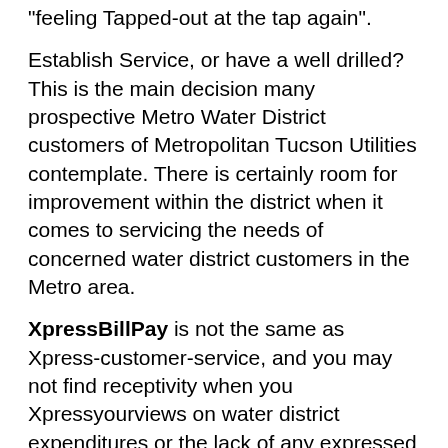“feeling Tapped-out at the tap again”.
Establish Service, or have a well drilled? This is the main decision many prospective Metro Water District customers of Metropolitan Tucson Utilities contemplate. There is certainly room for improvement within the district when it comes to servicing the needs of concerned water district customers in the Metro area.
XpressBillPay is not the same as Xpress-customer-service, and you may not find receptivity when you Xpressyourviews on water district expenditures or the lack of any expressed accountability by the Metro Water District area.
Direct-Pay-Utility-Bill-Credit: Are there members who should receive credit for the current “Status of The District”, or have they received enough already? How can the debt to our ratepayers and victims be repaid?